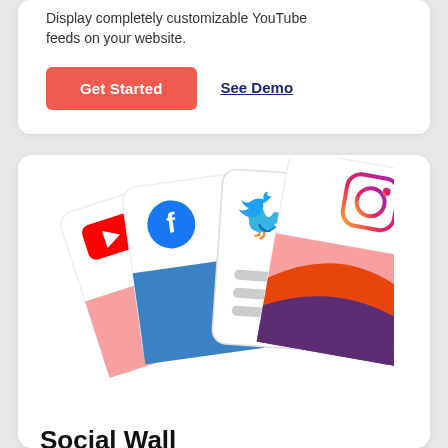Display completely customizable YouTube feeds on your website.
Get Started
See Demo
[Figure (illustration): Fan of four social media cards showing YouTube, Facebook, Twitter, and Instagram logos with colorful decorative shapes]
Social Wall
Use our Social Wall aggregator plugin to combine all your